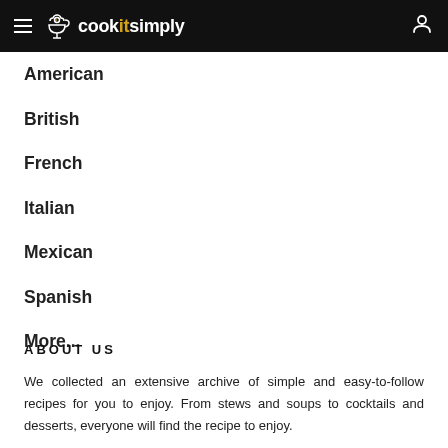cookitsimply
American
British
French
Italian
Mexican
Spanish
More...
ABOUT US
We collected an extensive archive of simple and easy-to-follow recipes for you to enjoy. From stews and soups to cocktails and desserts, everyone will find the recipe to enjoy.